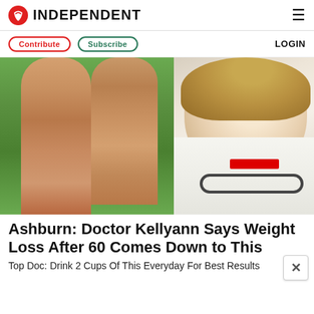INDEPENDENT
Contribute   Subscribe   LOGIN
[Figure (photo): Composite image showing close-up of legs with skin texture on the left, and a smiling female doctor in a white coat with stethoscope on the right]
Ashburn: Doctor Kellyann Says Weight Loss After 60 Comes Down to This
Top Doc: Drink 2 Cups Of This Everyday For Best Results